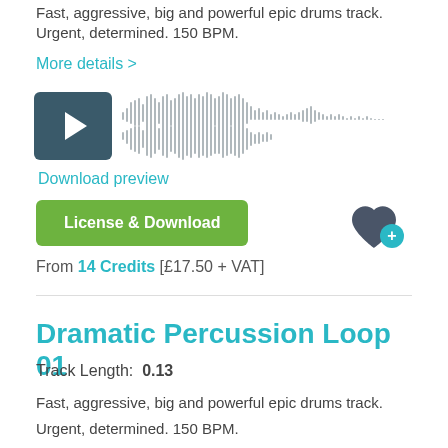Fast, aggressive, big and powerful epic drums track.
Urgent, determined. 150 BPM.
More details >
[Figure (other): Audio player with play button and waveform visualization]
Download preview
License & Download
From 14 Credits [£17.50 + VAT]
Dramatic Percussion Loop 01
Track Length:  0.13
Fast, aggressive, big and powerful epic drums track.
Urgent, determined. 150 BPM.